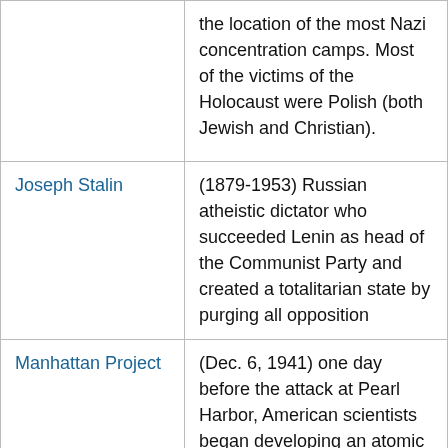| Term | Definition |
| --- | --- |
|  | the location of the most Nazi concentration camps. Most of the victims of the Holocaust were Polish (both Jewish and Christian). |
| Joseph Stalin | (1879-1953) Russian atheistic dictator who succeeded Lenin as head of the Communist Party and created a totalitarian state by purging all opposition |
| Manhattan Project | (Dec. 6, 1941) one day before the attack at Pearl Harbor, American scientists began developing an atomic bomb |
| D-Day | (June 6, 1944) the massive invasion of Europe at Normandy (France) by the U.S.-led Allied forces, to turn the tide in |